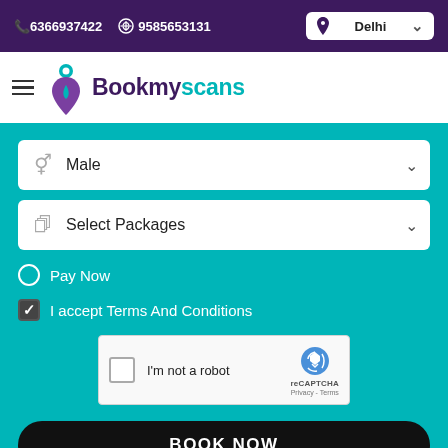📞 6366937422   ⊕ 9585653131   Delhi
[Figure (logo): Bookmyscans logo with teal location pin icon]
Male (dropdown)
Select Packages (dropdown)
Pay Now
I accept Terms And Conditions
[Figure (other): reCAPTCHA widget with checkbox, I'm not a robot text, and reCAPTCHA logo with Privacy - Terms links]
BOOK NOW
Bottom tab navigation buttons